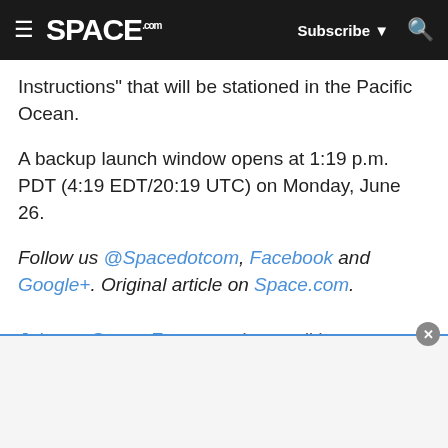SPACE.com | Subscribe | Search
Instructions" that will be stationed in the Pacific Ocean.
A backup launch window opens at 1:19 p.m. PDT (4:19 EDT/20:19 UTC) on Monday, June 26.
Follow us @Spacedotcom, Facebook and Google+. Original article on Space.com.
Join our Space Forums to keep talking space on the latest missions, night sky and more! And if you have a news tip, correction or comment, let us know at: